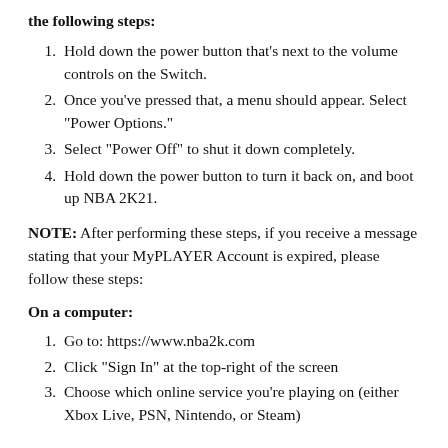the following steps:
Hold down the power button that's next to the volume controls on the Switch.
Once you've pressed that, a menu should appear. Select "Power Options."
Select "Power Off" to shut it down completely.
Hold down the power button to turn it back on, and boot up NBA 2K21.
NOTE: After performing these steps, if you receive a message stating that your MyPLAYER Account is expired, please follow these steps:
On a computer:
Go to: https://www.nba2k.com
Click "Sign In" at the top-right of the screen
Choose which online service you're playing on (either Xbox Live, PSN, Nintendo, or Steam)